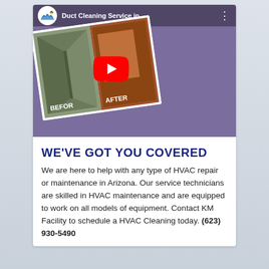[Figure (screenshot): YouTube video thumbnail for 'Duct Cleaning Service in ...' showing a before/after image of ductwork interior with a red YouTube play button overlay. Channel logo visible in top-left corner.]
WE'VE GOT YOU COVERED
We are here to help with any type of HVAC repair or maintenance in Arizona. Our service technicians are skilled in HVAC maintenance and are equipped to work on all models of equipment. Contact KM Facility to schedule a HVAC Cleaning today. (623) 930-5490